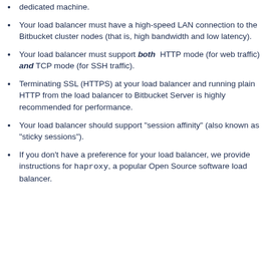dedicated machine.
Your load balancer must have a high-speed LAN connection to the Bitbucket cluster nodes (that is, high bandwidth and low latency).
Your load balancer must support both HTTP mode (for web traffic) and TCP mode (for SSH traffic).
Terminating SSL (HTTPS) at your load balancer and running plain HTTP from the load balancer to Bitbucket Server is highly recommended for performance.
Your load balancer should support "session affinity" (also known as "sticky sessions").
If you don't have a preference for your load balancer, we provide instructions for haproxy, a popular Open Source software load balancer.